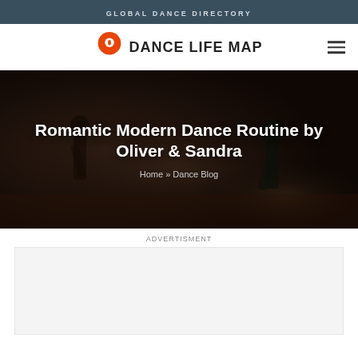GLOBAL DANCE DIRECTORY
[Figure (logo): Dance Life Map logo with orange map pin icon and bold uppercase text]
[Figure (photo): Dark atmospheric photo of dancers in a studio with moody lighting]
Romantic Modern Dance Routine by Oliver & Sandra
Home » Dance Blog
ADVERTISMENT
[Figure (other): Advertisement placeholder box]